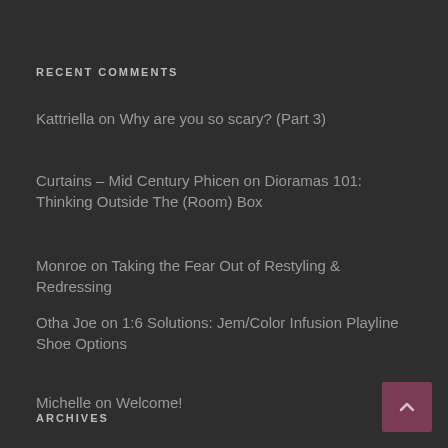RECENT COMMENTS
Kattriella on Why are you so scary? (Part 3)
Curtains – Mid Century Phicen on Dioramas 101: Thinking Outside The (Room) Box
Monroe on Taking the Fear Out of Restyling & Redressing
Otha Joe on 1:6 Solutions: Jem/Color Infusion Playline Shoe Options
Michelle on Welcome!
ARCHIVES